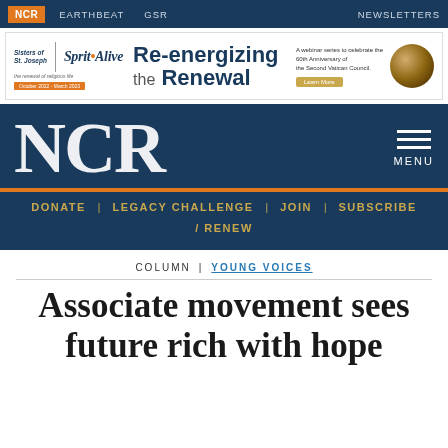NCR  EARTHBEAT  GSR  NEWSLETTERS
[Figure (infographic): Ad banner for Sisters of St. Joseph Spirit Alive webinar series 'Re-energizing the Renewal' celebrating the 60th Anniversary of the Second Vatican Council, October 2022 - March 2023]
NCR  MENU
DONATE  LEGACY CHALLENGE  JOIN  SUBSCRIBE / RENEW
COLUMN | YOUNG VOICES
Associate movement sees future rich with hope